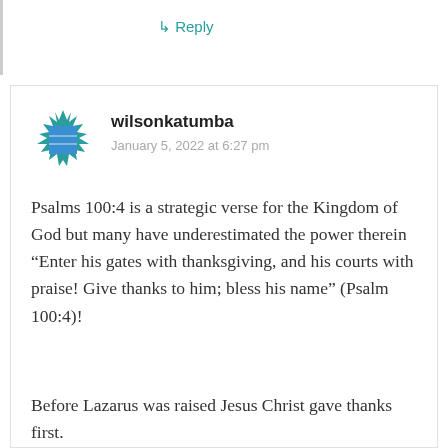↳ Reply
[Figure (illustration): User avatar icon: blue square with decorative star/snowflake-like pattern around it in blue and white]
wilsonkatumba
January 5, 2022 at 6:27 pm
Psalms 100:4 is a strategic verse for the Kingdom of God but many have underestimated the power therein
“Enter his gates with thanksgiving, and his courts with praise! Give thanks to him; bless his name” (Psalm 100:4)!
Before Lazarus was raised Jesus Christ gave thanks first.
Before He multiplied the break He gave thanks